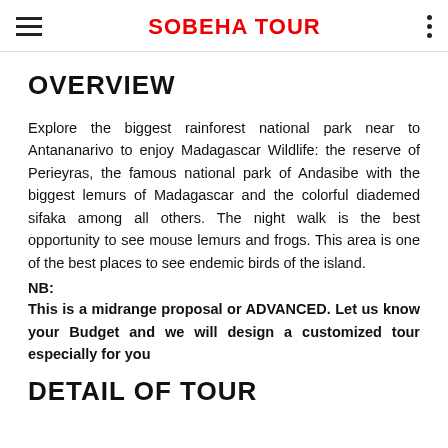SOBEHA TOUR
OVERVIEW
Explore the biggest rainforest national park near to Antananarivo to enjoy Madagascar Wildlife: the reserve of Perieyras, the famous national park of Andasibe with the biggest lemurs of Madagascar and the colorful diademed sifaka among all others. The night walk is the best opportunity to see mouse lemurs and frogs. This area is one of the best places to see endemic birds of the island.
NB:
This is a midrange proposal or ADVANCED. Let us know your Budget and we will design a customized tour especially for you
DETAIL OF TOUR